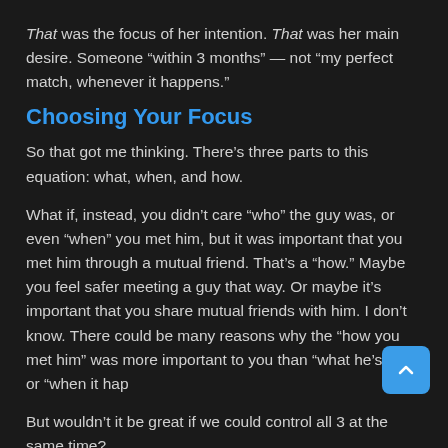That was the focus of her intention. That was her main desire. Someone “within 3 months” — not “my perfect match, whenever it happens.”
Choosing Your Focus
So that got me thinking. There’s three parts to this equation: what, when, and how.
What if, instead, you didn’t care “who” the guy was, or even “when” you met him, but it was important that you met him through a mutual friend. That’s a “how.” Maybe you feel safer meeting a guy that way. Or maybe it’s important that you share mutual friends with him. I don’t know. There could be many reasons why the “how you met him” was more important to you than “what he’s like” or “when it hap
But wouldn’t it be great if we could control all 3 at the same time?